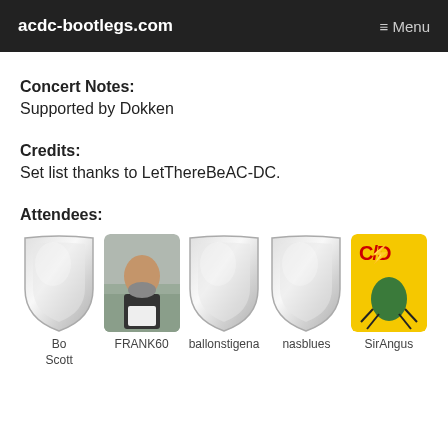acdc-bootlegs.com  ≡ Menu
Concert Notes:
Supported by Dokken
Credits:
Set list thanks to LetThereBeAC-DC.
Attendees:
[Figure (photo): Five attendee avatars: Bo Scott (silver shield), FRANK60 (photo of bearded man with motorcycles in background), ballonstigena (silver shield), nasblues (silver shield), SirAngus (AC/DC yellow cartoon frog logo)]
Bo Scott  FRANK60  ballonstigena  nasblues  SirAngus